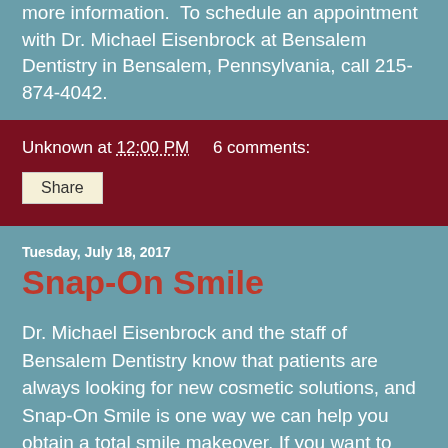more information.  To schedule an appointment with Dr. Michael Eisenbrock at Bensalem Dentistry in Bensalem, Pennsylvania, call 215-874-4042.
Unknown at 12:00 PM    6 comments:
Share
Tuesday, July 18, 2017
Snap-On Smile
Dr. Michael Eisenbrock and the staff of Bensalem Dentistry know that patients are always looking for new cosmetic solutions, and Snap-On Smile is one way we can help you obtain a total smile makeover. If you want to change the look of your teeth without a single dental procedure, Snap-On Smile is the solution you’ve been looking for!
Snap-On Smile is a great option for anyone with small gaps